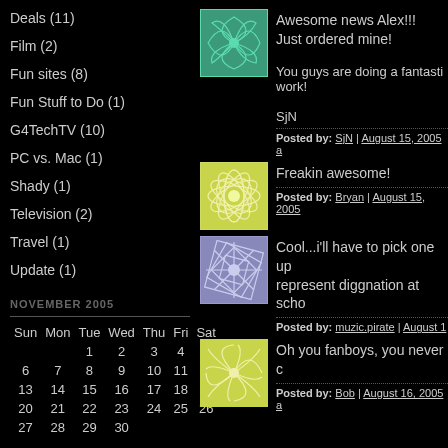Deals (11)
Film (2)
Fun sites (8)
Fun Stuff to Do (1)
G4TechTV (10)
PC vs. Mac (1)
Shady (1)
Television (2)
Travel (1)
Update (1)
NOVEMBER 2005
| Sun | Mon | Tue | Wed | Thu | Fri | Sat |
| --- | --- | --- | --- | --- | --- | --- |
|  |  | 1 | 2 | 3 | 4 | 5 |
| 6 | 7 | 8 | 9 | 10 | 11 | 12 |
| 13 | 14 | 15 | 16 | 17 | 18 | 19 |
| 20 | 21 | 22 | 23 | 24 | 25 | 26 |
| 27 | 28 | 29 | 30 |  |  |  |
Subscribe to this blog's feed
[Figure (illustration): Green swirling pattern avatar]
Awesome news Alex!!!
Just ordered mine!

You guys are doing a fantastic work!

SjN
Posted by: SjN | August 15, 2005 a
[Figure (illustration): Yellow-green flower pattern avatar]
Freakin awesome!
Posted by: Bryan | August 15, 2005
[Figure (illustration): Blue geometric pattern avatar]
Cool...i'll have to pick one up represent diggnation at school
Posted by: muzic.pirate | August 1
[Figure (illustration): Yellow-green swirl pattern avatar]
Oh you fanboys, you never c
Posted by: Bob | August 16, 2005 a